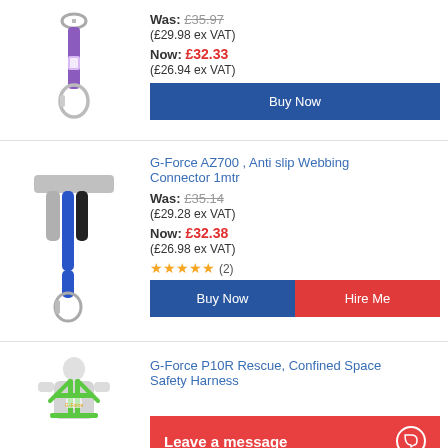[Figure (photo): Photo of a purple lanyard with carabiner clip — safety connector product]
Was: £35.97
(£29.98 ex VAT)
Now: £32.33
(£26.94 ex VAT)
Buy Now
[Figure (photo): Photo of G-Force AZ700 Anti slip Webbing Connector 1mtr — blue and grey webbing strap with carabiner]
G-Force AZ700 , Anti slip Webbing Connector 1mtr
Was: £35.14
(£29.28 ex VAT)
Now: £32.38
(£26.98 ex VAT)
★★★★★ (2)
Buy Now  Hire Me
[Figure (photo): Photo of G-Force P10R Rescue Confined Space Safety Harness — white mannequin wearing green harness]
G-Force P10R Rescue, Confined Space Safety Harness
Leave a message